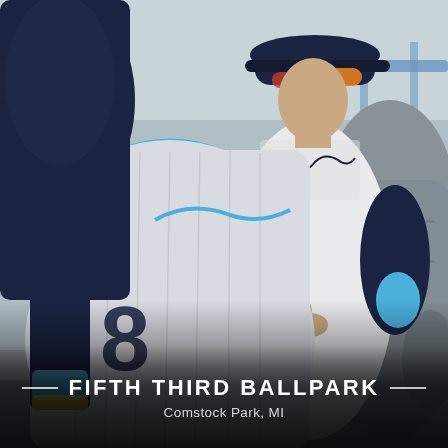[Figure (photo): Two people in West Michigan Whitecaps baseball jerseys (white with navy blue and light blue accents) at Fifth Third Ballpark. One person (back to camera, wearing #8 jersey) faces a player/staff member in a white Whitecaps uniform with sunglasses and a navy cap, who appears to be signing an autograph. A gray backpack is visible on the right side. The scene is outdoors at the ballpark.]
FIFTH THIRD BALLPARK
Comstock Park, MI